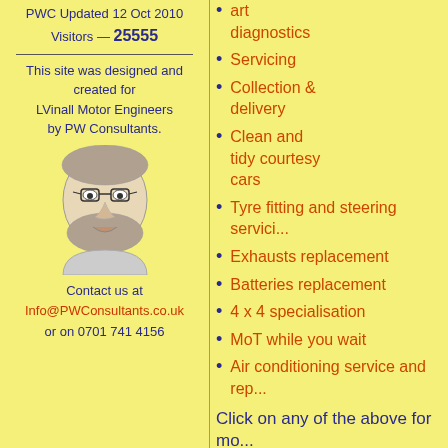PWC Updated 12 Oct 2010
Visitors — 25555
This site was designed and created for LVinall Motor Engineers by PW Consultants.
[Figure (illustration): Pencil sketch portrait of a bearded man with glasses]
Contact us at Info@PWConsultants.co.uk or on 0701 741 4156
art diagnostics
Servicing
Collection & delivery
Clean and tidy courtesy cars
Tyre fitting and steering servici...
Exhausts replacement
Batteries replacement
4 x 4 specialisation
MoT while you wait
Air conditioning service and rep...
Click on any of the above for mo...
We take a pride in our professio...